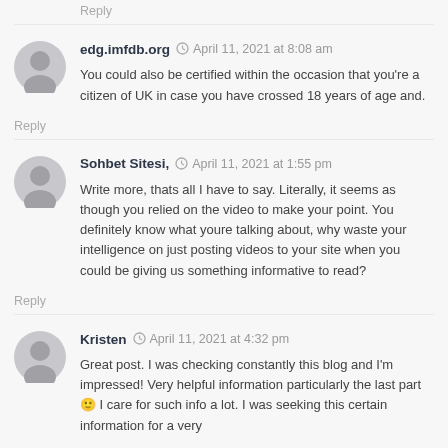Reply
edg.imfdb.org  April 11, 2021 at 8:08 am
You could also be certified within the occasion that you're a citizen of UK in case you have crossed 18 years of age and.
Reply
Sohbet Sitesi,  April 11, 2021 at 1:55 pm
Write more, thats all I have to say. Literally, it seems as though you relied on the video to make your point. You definitely know what youre talking about, why waste your intelligence on just posting videos to your site when you could be giving us something informative to read?
Reply
Kristen  April 11, 2021 at 4:32 pm
Great post. I was checking constantly this blog and I'm impressed! Very helpful information particularly the last part 🙂 I care for such info a lot. I was seeking this certain information for a very